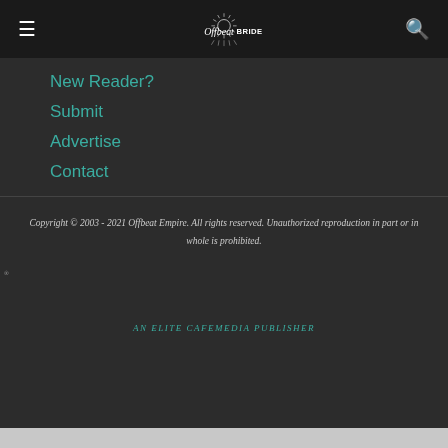Offbeat Bride
New Reader?
Submit
Advertise
Contact
Copyright © 2003 - 2021 Offbeat Empire. All rights reserved. Unauthorized reproduction in part or in whole is prohibited.
AN ELITE CAFEMEDIA PUBLISHER